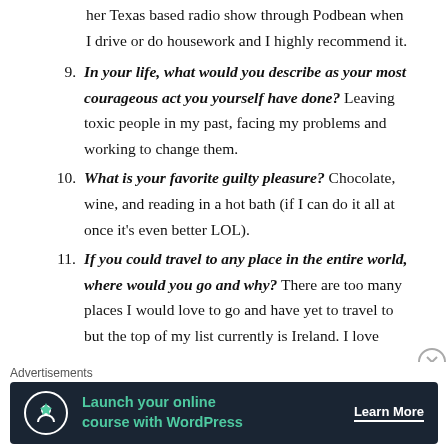her Texas based radio show through Podbean when I drive or do housework and I highly recommend it.
9. In your life, what would you describe as your most courageous act you yourself have done? Leaving toxic people in my past, facing my problems and working to change them.
10. What is your favorite guilty pleasure? Chocolate, wine, and reading in a hot bath (if I can do it all at once it’s even better LOL).
11. If you could travel to any place in the entire world, where would you go and why? There are too many places I would love to go and have yet to travel to but the top of my list currently is Ireland. I love
Advertisements
Launch your online course with WordPress   Learn More